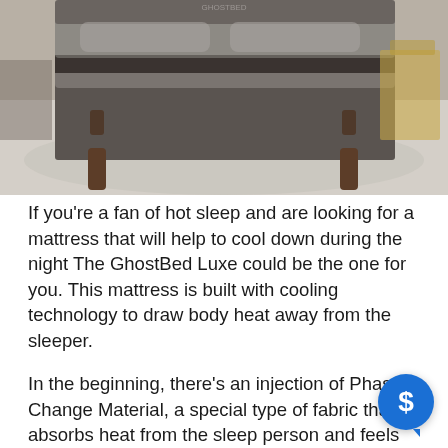[Figure (photo): Photo of a GhostBed Luxe mattress on a platform bed frame with wooden legs, placed on a light shaggy rug in a bedroom setting. The mattress has a dark charcoal/grey upholstered cover with a darker border strip.]
If you're a fan of hot sleep and are looking for a mattress that will help to cool down during the night The GhostBed Luxe could be the one for you. This mattress is built with cooling technology to draw body heat away from the sleeper.
In the beginning, there's an injection of Phase Change Material, a special type of fabric that absorbs heat from the sleeper person and feels cool to the skin. It also the gel memory foam which is, in addition to